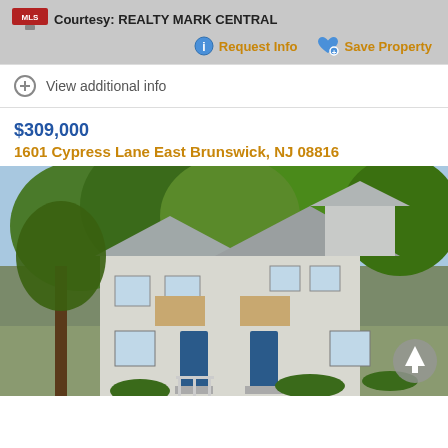Courtesy: REALTY MARK CENTRAL
Request Info
Save Property
View additional info
$309,000
1601 Cypress Lane East Brunswick, NJ 08816
[Figure (photo): Exterior photo of a two-story residential townhouse/condo with gray siding, blue front doors, and green trees in the background and foreground]